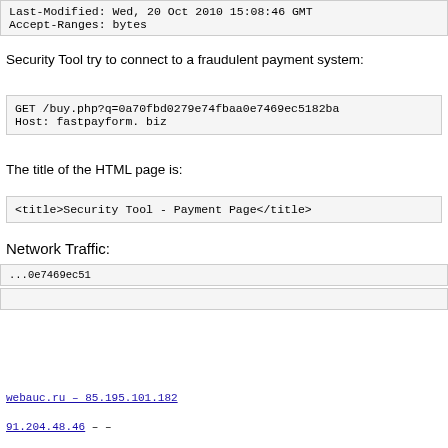Last-Modified: Wed, 20 Oct 2010 15:08:46 GMT
Accept-Ranges: bytes
Security Tool try to connect to a fraudulent payment system:
GET /buy.php?q=0a70fbd0279e74fbaa0e7469ec5182ba
Host: fastpayform. biz
The title of the HTML page is:
<title>Security Tool - Payment Page</title>
Network Traffic:
[Figure (screenshot): Cookie consent overlay on dark background with yellow Close button, overlaying network traffic table data]
91.204.48.46 – –